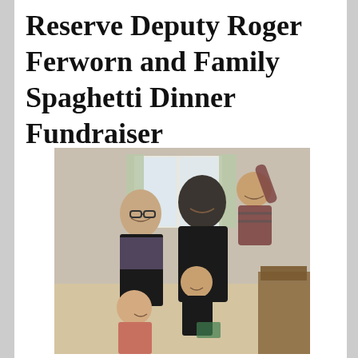Reserve Deputy Roger Ferworn and Family Spaghetti Dinner Fundraiser
[Figure (photo): A family photo showing a man holding a toddler, a woman beside him wearing glasses, and two young children in front. They are indoors near a window with curtains.]